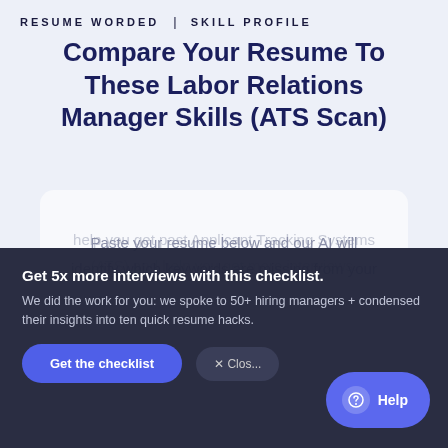RESUME WORDED | SKILL PROFILE
Compare Your Resume To These Labor Relations Manager Skills (ATS Scan)
Paste your resume below and our AI will identify which keywords are missing from your resume from the list above (and what you need to include). Including the right keywords will help you get past Applicant Tracking Systems (ATS) and help you get more interviews.
Get 5x more interviews with this checklist. We did the work for you: we spoke to 50+ hiring managers + condensed their insights into ten quick resume hacks.